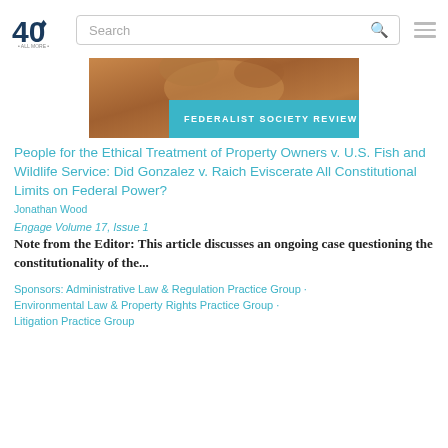40 [logo] Search [hamburger menu]
[Figure (photo): Animal photo with teal banner overlay reading FEDERALIST SOCIETY REVIEW]
People for the Ethical Treatment of Property Owners v. U.S. Fish and Wildlife Service: Did Gonzalez v. Raich Eviscerate All Constitutional Limits on Federal Power?
Jonathan Wood
Engage Volume 17, Issue 1
Note from the Editor: This article discusses an ongoing case questioning the constitutionality of the...
Sponsors: Administrative Law & Regulation Practice Group · Environmental Law & Property Rights Practice Group · Litigation Practice Group